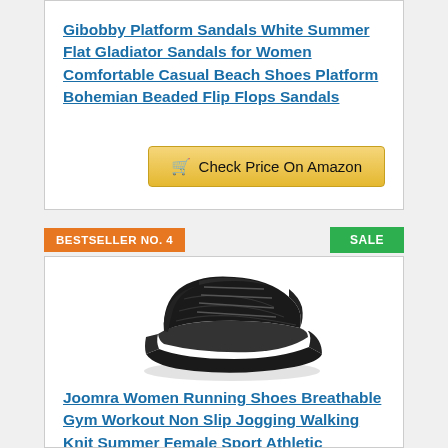Gibobby Platform Sandals White Summer Flat Gladiator Sandals for Women Comfortable Casual Beach Shoes Platform Bohemian Beaded Flip Flops Sandals
Check Price On Amazon
BESTSELLER NO. 4
SALE
[Figure (photo): Black women's athletic/running sneaker shoe viewed from the side, showing knit upper and thick sole]
Joomra Women Running Shoes Breathable Gym Workout Non Slip Jogging Walking Knit Summer Female Sport Athletic Fashion Tennis